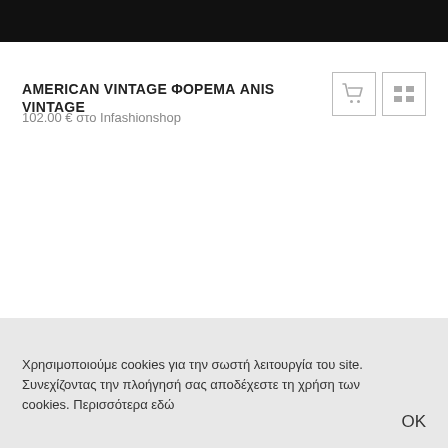AMERICAN VINTAGE ΦΟΡΕΜΑ ANIS VINTAGE
102.00 € στο Infashionshop
Χρησιμοποιούμε cookies για την σωστή λειτουργία του site. Συνεχίζοντας την πλοήγησή σας αποδέχεστε τη χρήση των cookies. Περισσότερα εδώ
OK